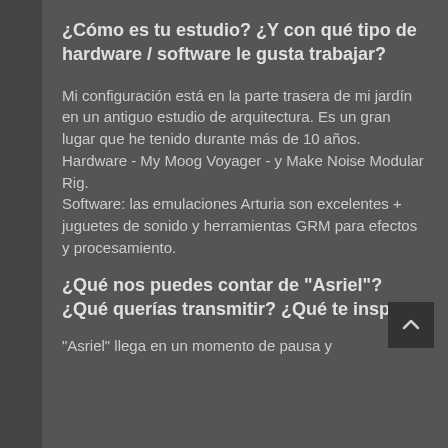¿Cómo es tu estudio? ¿Y con qué tipo de hardware / software le gusta trabajar?
Mi configuración está en la parte trasera de mi jardín en un antiguo estudio de arquitectura. Es un gran lugar que he tenido durante más de 10 años. Hardware - My Moog Voyager - y Make Noise Modular Rig. Software: las emulaciones Arturia son excelentes + juguetes de sonido y herramientas GRM para efectos y procesamiento.
¿Qué nos puedes contar de "Asriel"? ¿Qué querías transmitir? ¿Qué te inspiró?
"Asriel" llega en un momento de pausa y